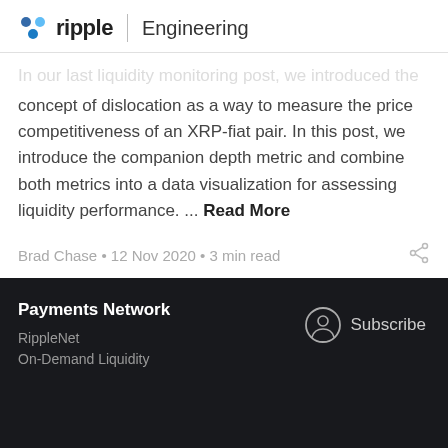ripple | Engineering
In our last liquidity monitoring post, we introduced the concept of dislocation as a way to measure the price competitiveness of an XRP-fiat pair. In this post, we introduce the companion depth metric and combine both metrics into a data visualization for assessing liquidity performance. ... Read More
Brad Chase · 12 Nov 2020 · 3 min read
Payments Network
RippleNet
On-Demand Liquidity